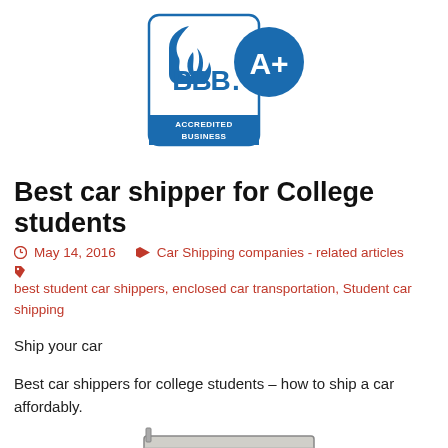[Figure (logo): BBB Accredited Business A+ rating logo — blue flame/torch symbol with 'BBB.' text and 'ACCREDITED BUSINESS' badge, overlaid with a blue circle showing 'A+' rating]
Best car shipper for College students
May 14, 2016   Car Shipping companies - related articles   best student car shippers, enclosed car transportation, Student car shipping
Ship your car
Best car shippers for college students – how to ship a car affordably.
[Figure (photo): Partial view of a large car transport truck/auto hauler at the bottom of the page]